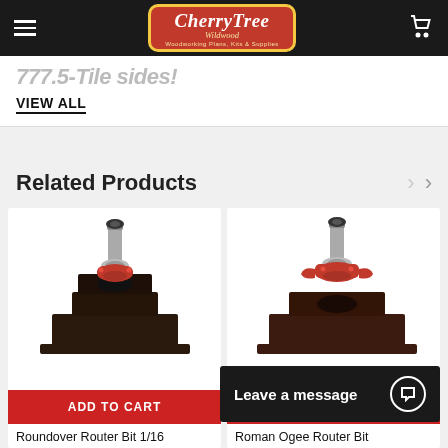CherryTree Wildwood — Woodworking Plans, Kits & Supplies
VIEW ALL
Related Products
[Figure (photo): Roundover Router Bit 1/16 product image showing a router bit with red carbide tips mounted on a dark wooden stand]
ADD TO CART
Roundover Router Bit 1/16
[Figure (photo): Roman Ogee Router Bit product image showing a router bit with red carbide wings mounted on a dark wooden stand]
ADD TO CART
Roman Ogee Router Bit
Leave a message